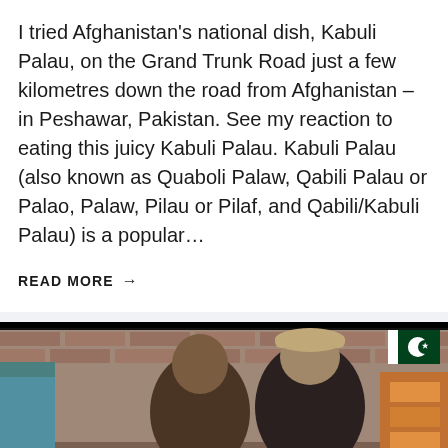I tried Afghanistan's national dish, Kabuli Palau, on the Grand Trunk Road just a few kilometres down the road from Afghanistan – in Peshawar, Pakistan. See my reaction to eating this juicy Kabuli Palau. Kabuli Palau (also known as Quaboli Palaw, Qabili Palau or Palao, Palaw, Pilau or Pilaf, and Qabili/Kabuli Palau) is a popular…
READ MORE →
[Figure (photo): Video thumbnail showing two men in a market or restaurant setting in Pakistan. A Pakistan flag icon appears in the top right corner. A green banner reading 'UNIQUE GIFT' appears at the bottom left.]